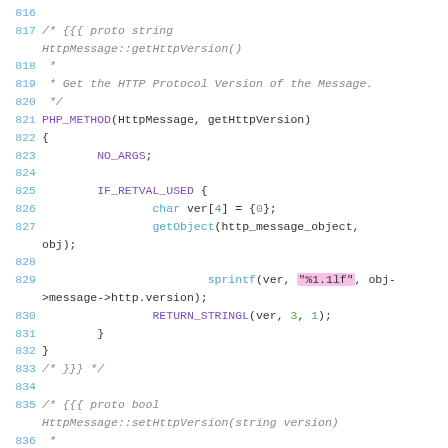[Figure (screenshot): Source code listing lines 816-836 showing C code for PHP_METHOD HttpMessage::getHttpVersion() and the beginning of HttpMessage::setHttpVersion()]